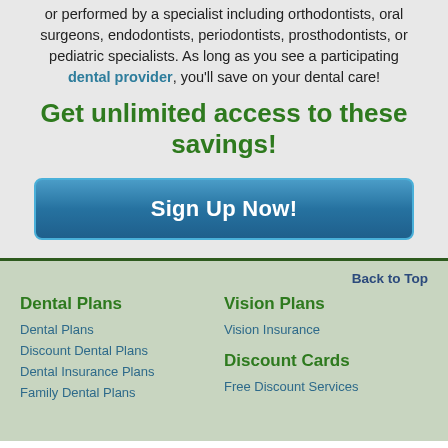or performed by a specialist including orthodontists, oral surgeons, endodontists, periodontists, prosthodontists, or pediatric specialists. As long as you see a participating dental provider, you'll save on your dental care!
Get unlimited access to these savings!
[Figure (other): Blue Sign Up Now! button]
Back to Top
Dental Plans
Dental Plans
Discount Dental Plans
Dental Insurance Plans
Family Dental Plans
Vision Plans
Vision Insurance
Discount Cards
Free Discount Services